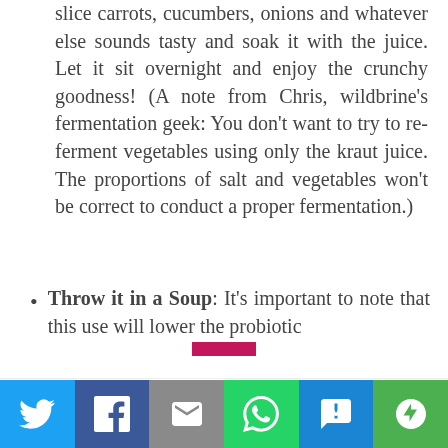slice carrots, cucumbers, onions and whatever else sounds tasty and soak it with the juice. Let it sit overnight and enjoy the crunchy goodness! (A note from Chris, wildbrine's fermentation geek: You don't want to try to re-ferment vegetables using only the kraut juice. The proportions of salt and vegetables won't be correct to conduct a proper fermentation.)
Throw it in a Soup: It's important to note that this use will lower the probiotic
We use cookies on our website to give you the most relevant experience by remembering your preferences and repeat visits. By clicking "Accept", you consent to the use of ALL the cookies.
[Figure (infographic): Social sharing bar with Twitter, Facebook, Email, WhatsApp, SMS, and More buttons]